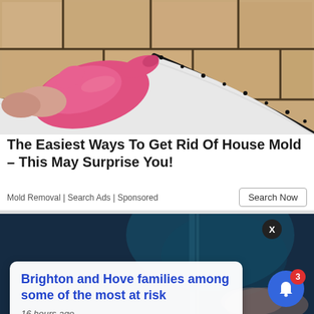[Figure (photo): Photo of a pink rubber-gloved hand pointing at black mold along the caulk edge of a white bathtub, surrounded by beige ceramic tiles with dark grout lines.]
The Easiest Ways To Get Rid Of House Mold - This May Surprise You!
Mold Removal | Search Ads | Sponsored
[Figure (photo): Screenshot of a news article popup overlay on a dark blue/teal background showing running water and hands. A popup card reads 'Brighton and Hove families among some of the most at risk' with timestamp '16 hours ago'. An X close button appears top right, and a blue notification bell with badge '3' appears bottom right.]